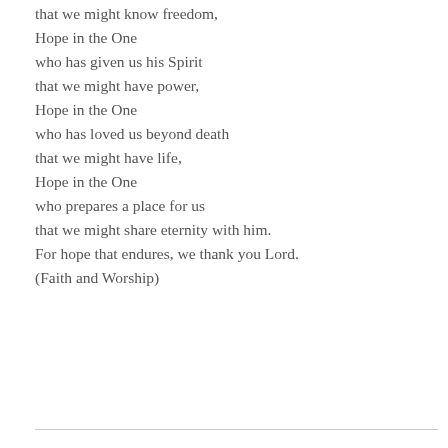that we might know freedom,
Hope in the One
who has given us his Spirit
that we might have power,
Hope in the One
who has loved us beyond death
that we might have life,
Hope in the One
who prepares a place for us
that we might share eternity with him.
For hope that endures, we thank you Lord.
(Faith and Worship)